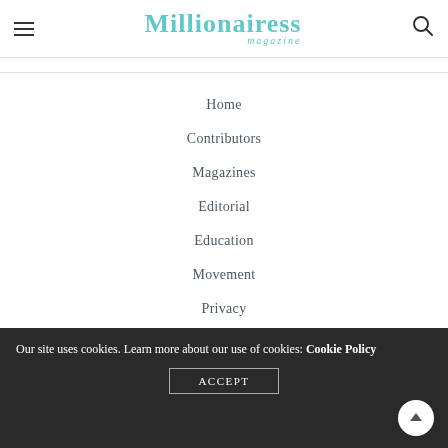Millionairess magazine
Home
Contributors
Magazines
Editorial
Education
Movement
Privacy
Our site uses cookies. Learn more about our use of cookies: Cookie Policy
ACCEPT